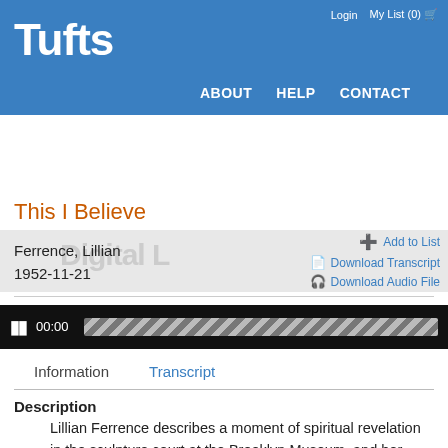Tufts | Login | My List (0) | ABOUT | HELP | CONTACT
[Figure (screenshot): Gray toolbar with Add to List, Download Transcript, Download Audio File links and Digital... watermark text]
This I Believe
Ferrence, Lillian
1952-11-21
[Figure (screenshot): Audio player with pause button, 00:00 time display and striped progress bar on black background]
Information | Transcript (tabs)
Description
Lillian Ferrence describes a moment of spiritual revelation in the sculpture court at the Brooklyn Museum, and her beliefs in God's tie to beauty, the importance of considering the feelings of